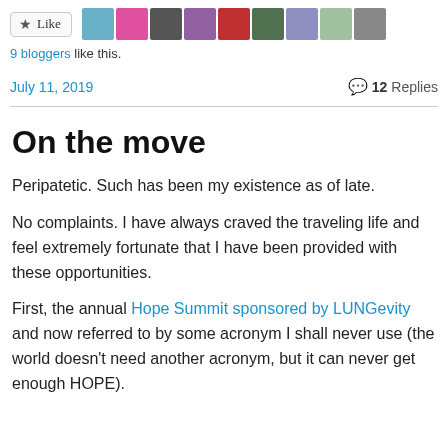[Figure (other): Like button with star icon and 9 blogger avatars]
9 bloggers like this.
July 11, 2019   💬 12 Replies
On the move
Peripatetic. Such has been my existence as of late.
No complaints. I have always craved the traveling life and feel extremely fortunate that I have been provided with these opportunities.
First, the annual Hope Summit sponsored by LUNGevity and now referred to by some acronym I shall never use (the world doesn't need another acronym, but it can never get enough HOPE).